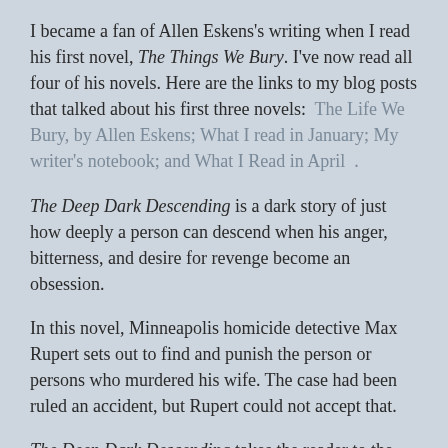I became a fan of Allen Eskens's writing when I read his first novel, The Things We Bury. I've now read all four of his novels. Here are the links to my blog posts that talked about his first three novels: The Life We Bury, by Allen Eskens; What I read in January; My writer's notebook; and What I Read in April .
The Deep Dark Descending is a dark story of just how deeply a person can descend when his anger, bitterness, and desire for revenge become an obsession.
In this novel, Minneapolis homicide detective Max Rupert sets out to find and punish the person or persons who murdered his wife. The case had been ruled an accident, but Rupert could not accept that.
The Deep Dark Descending takes the reader to the frigid